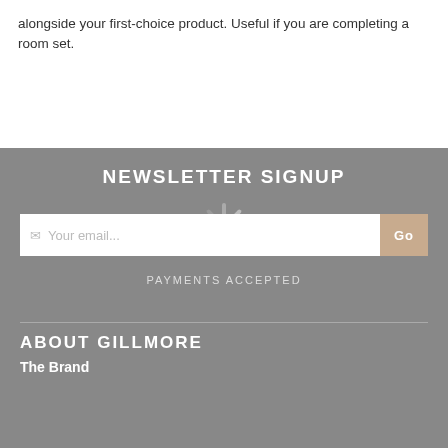alongside your first-choice product. Useful if you are completing a room set.
NEWSLETTER SIGNUP
[Figure (other): Loading spinner graphic (circular animated loader) overlaid on newsletter email input area]
Your email...
Go
PAYMENTS ACCEPTED
ABOUT GILLMORE
The Brand